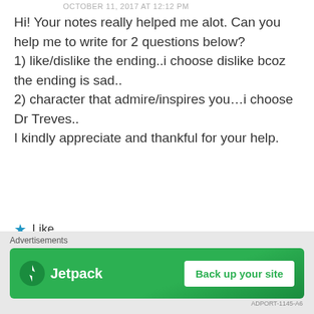OCTOBER 11, 2017 AT 12:12 PM
Hi! Your notes really helped me alot. Can you help me to write for 2 questions below?
1) like/dislike the ending..i choose dislike bcoz the ending is sad..
2) character that admire/inspires you...i choose Dr Treves..
I kindly appreciate and thankful for your help.
★ Like
REPLY
Advertisements
[Figure (screenshot): Jetpack advertisement banner with green background showing Jetpack logo on left and 'Back up your site' button on right]